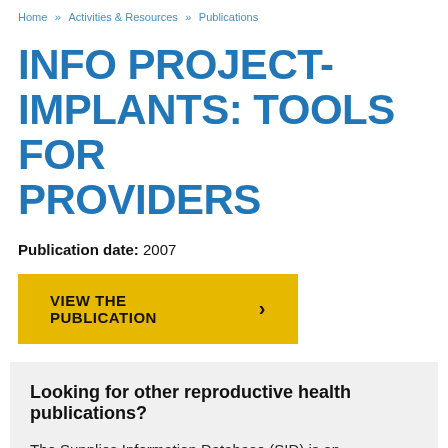Home » Activities & Resources » Publications
INFO PROJECT-IMPLANTS: TOOLS FOR PROVIDERS
Publication date: 2007
VIEW THE PUBLICATION >
Looking for other reproductive health publications?
The Supplies Information Database (SID) is an